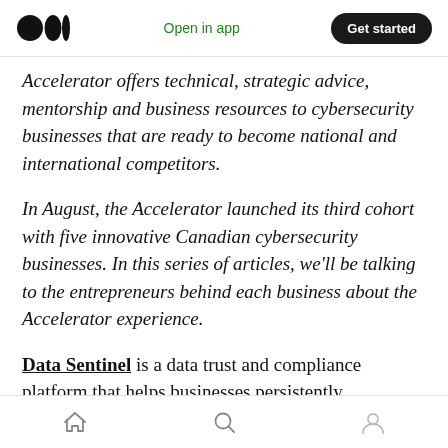Medium logo | Open in app | Get started
Accelerator offers technical, strategic advice, mentorship and business resources to cybersecurity businesses that are ready to become national and international competitors.
In August, the Accelerator launched its third cohort with five innovative Canadian cybersecurity businesses. In this series of articles, we'll be talking to the entrepreneurs behind each business about the Accelerator experience.
Data Sentinel is a data trust and compliance platform that helps businesses persistently
Home | Search | Profile